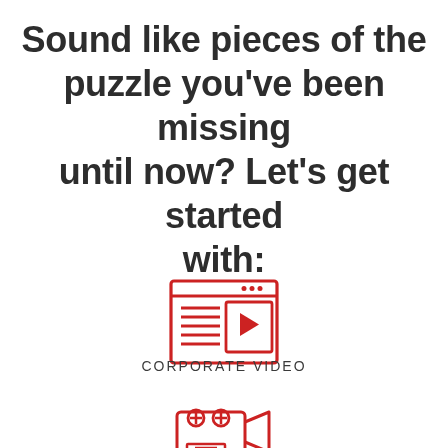Sound like pieces of the puzzle you've been missing until now? Let's get started with:
[Figure (illustration): Red outline icon of a web browser/video player window with a play button and text lines]
CORPORATE VIDEO
[Figure (illustration): Red outline icon of a vintage film camera on a tripod]